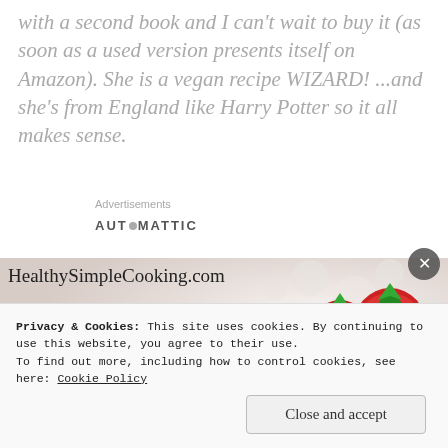with a second book and I can't wait to buy it (as soon as a used version presents itself on Amazon). She is a vegan recipe WIZARD! ...and she's from England like Harry Potter so it all makes sense.
Advertisements
[Figure (logo): AUTOMATTIC logo with a circular dot replacing the O]
[Figure (photo): HealthySimpleCooking.com advertisement banner with strawberries on a plate]
Privacy & Cookies: This site uses cookies. By continuing to use this website, you agree to their use. To find out more, including how to control cookies, see here: Cookie Policy
Close and accept